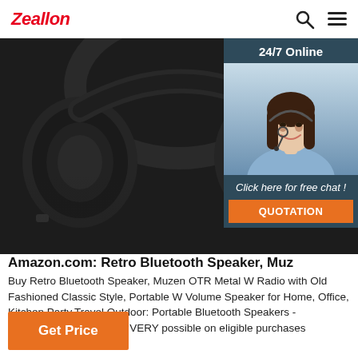Zeallon
[Figure (photo): Close-up photo of black over-ear Bluetooth headphones against dark background, showing ear cups and headband detail]
[Figure (photo): 24/7 Online chat panel with photo of smiling female customer service agent wearing a headset, with 'Click here for free chat!' text and QUOTATION button]
Amazon.com: Retro Bluetooth Speaker, Muz
Buy Retro Bluetooth Speaker, Muzen OTR Metal W Radio with Old Fashioned Classic Style, Portable W Volume Speaker for Home, Office, Kitchen,Party,Travel,Outdoor: Portable Bluetooth Speakers - Amazon.com FREE DELIVERY possible on eligible purchases
Get Price